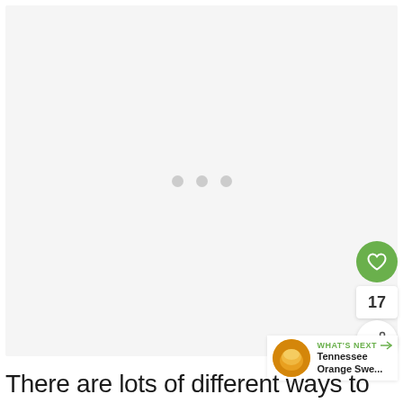[Figure (photo): Large image area in loading state with three grey dots centered, indicating content is loading]
[Figure (infographic): Green circular like/heart button with count of 17 below it, and a share button with circular icon]
[Figure (screenshot): What's Next panel showing a thumbnail of orange drink (Tennessee Orange Swe...) with green label and arrow]
There are lots of different ways to